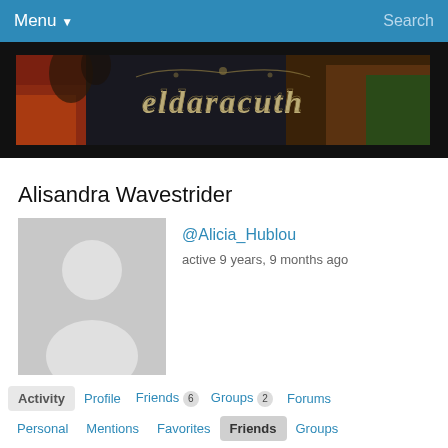Menu ▼   Search
[Figure (illustration): Fantasy themed banner image with stylized gothic text reading 'eldaracuth' over a mountainous landscape with fire and trees]
Alisandra Wavestrider
[Figure (photo): Default grey avatar/profile picture silhouette]
@Alicia_Hublou
active 9 years, 9 months ago
Activity
Profile
Friends 6
Groups 2
Forums
Personal
Mentions
Favorites
Friends
Groups